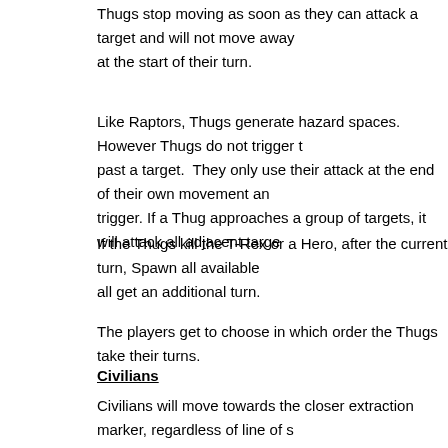Thugs stop moving as soon as they can attack a target and will not move away at the start of their turn.
Like Raptors, Thugs generate hazard spaces. However Thugs do not trigger past a target. They only use their attack at the end of their own movement and trigger. If a Thug approaches a group of targets, it will attack all adjacent targets.
If the Thugs kill the T-Rex or a Hero, after the current turn, Spawn all available all get an additional turn.
The players get to choose in which order the Thugs take their turns.
Civilians
Civilians will move towards the closer extraction marker, regardless of line of sight they are numerically the closest they can get to that marker, taking the path of players get to choose. They will not avoid any hazard spaces.
Heroes can use an action to move an adjacent Civilian up to that Civilian's Movement.